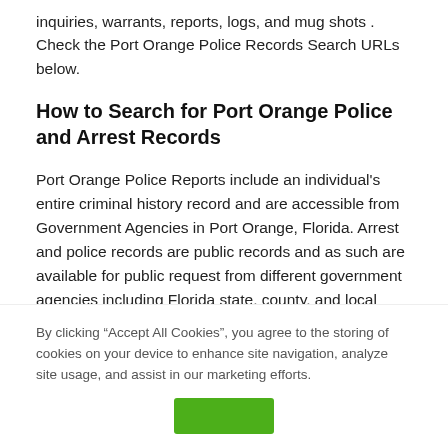inquiries, warrants, reports, logs, and mug shots . Check the Port Orange Police Records Search URLs below.
How to Search for Port Orange Police and Arrest Records
Port Orange Police Reports include an individual's entire criminal history record and are accessible from Government Agencies in Port Orange, Florida. Arrest and police records are public records and as such are available for public request from different government agencies including Florida state, county, and local police departments . Port Orange police departments and Port Orange Criminal Courts maintain Police Records, warrants, and mug shots .
By clicking “Accept All Cookies”, you agree to the storing of cookies on your device to enhance site navigation, analyze site usage, and assist in our marketing efforts.